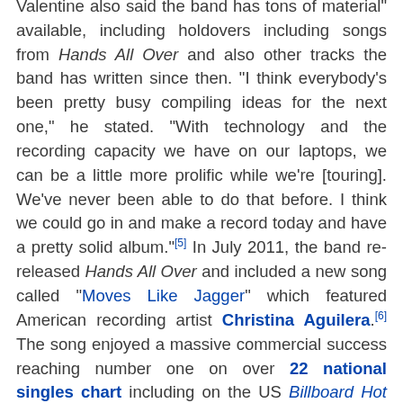Valentine also said the band has tons of material" available, including holdovers including songs from Hands All Over and also other tracks the band has written since then. "I think everybody's been pretty busy compiling ideas for the next one," he stated. "With technology and the recording capacity we have on our laptops, we can be a little more prolific while we're [touring]. We've never been able to do that before. I think we could go in and make a record today and have a pretty solid album."[5] In July 2011, the band re-released Hands All Over and included a new song called "Moves Like Jagger" which featured American recording artist Christina Aguilera.[6] The song enjoyed a massive commercial success reaching number one on over 22 national singles chart including on the US Billboard Hot 100.[7] In an interview...